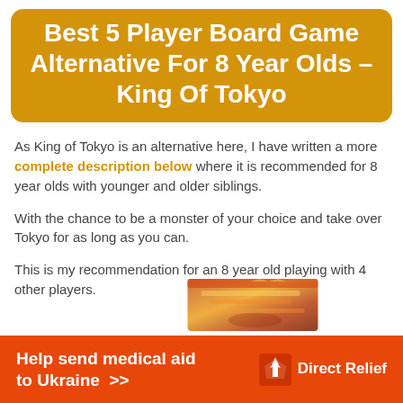Best 5 Player Board Game Alternative For 8 Year Olds – King Of Tokyo
As King of Tokyo is an alternative here, I have written a more complete description below where it is recommended for 8 year olds with younger and older siblings.
With the chance to be a monster of your choice and take over Tokyo for as long as you can.
This is my recommendation for an 8 year old playing with 4 other players.
[Figure (photo): Partial view of King of Tokyo board game box at the bottom of the page]
[Figure (infographic): Orange advertisement banner: 'Help send medical aid to Ukraine >>' with Direct Relief logo]